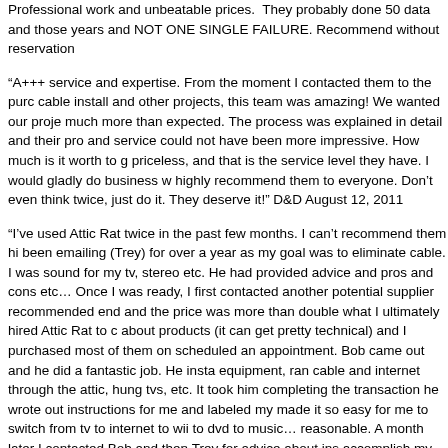Professional work and unbeatable prices. They probably done 50 data and those years and NOT ONE SINGLE FAILURE. Recommend without reservation
“A+++ service and expertise. From the moment I contacted them to the purchase, cable install and other projects, this team was amazing! We wanted our project much more than expected. The process was explained in detail and their pro and service could not have been more impressive. How much is it worth to g priceless, and that is the service level they have. I would gladly do business w highly recommend them to everyone. Don’t even think twice, just do it. They deserve it!” D&D August 12, 2011
“I’ve used Attic Rat twice in the past few months. I can’t recommend them hi been emailing (Trey) for over a year as my goal was to eliminate cable. I was sound for my tv, stereo etc. He had provided advice and pros and cons etc… Once I was ready, I first contacted another potential supplier recommended end and the price was more than double what I ultimately hired Attic Rat to c about products (it can get pretty technical) and I purchased most of them on scheduled an appointment. Bob came out and he did a fantastic job. He insta equipment, ran cable and internet through the attic, hung tvs, etc. It took him completing the transaction he wrote out instructions for me and labeled my made it so easy for me to switch from tv to internet to wii to dvd to music… reasonable. A month later I contacted Bob and then Trey for advice about ins accomplish my goal of eliminating cable. Bob came out again and this time it now have no cable, a great reception from 2 tvs and netflix over the internet fantastic job. I could have given him the keys to my house and left for the da have no personal relationship with Trey or Bob but was motivated to write th